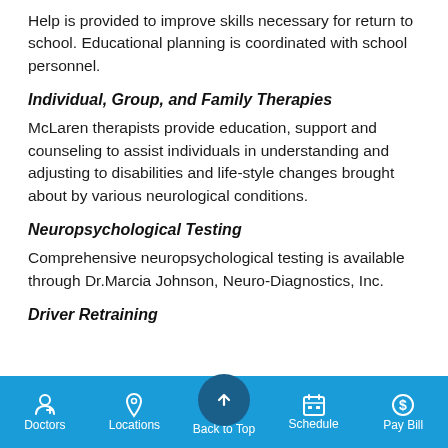Help is provided to improve skills necessary for return to school. Educational planning is coordinated with school personnel.
Individual, Group, and Family Therapies
McLaren therapists provide education, support and counseling to assist individuals in understanding and adjusting to disabilities and life-style changes brought about by various neurological conditions.
Neuropsychological Testing
Comprehensive neuropsychological testing is available through Dr.Marcia Johnson, Neuro-Diagnostics, Inc.
Driver Retraining
Doctors  Locations  Back to Top  Schedule  Pay Bill